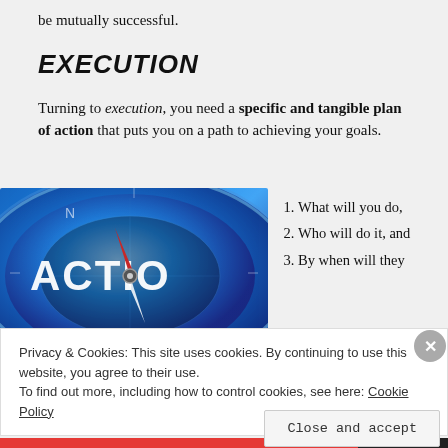be mutually successful.
EXECUTION
Turning to execution, you need a specific and tangible plan of action that puts you on a path to achieving your goals.
[Figure (photo): Close-up of a blue compass face with the word ACTION written on it and a red and white needle pointing left.]
What will you do,
Who will do it, and
By when will they
Privacy & Cookies: This site uses cookies. By continuing to use this website, you agree to their use. To find out more, including how to control cookies, see here: Cookie Policy
Close and accept